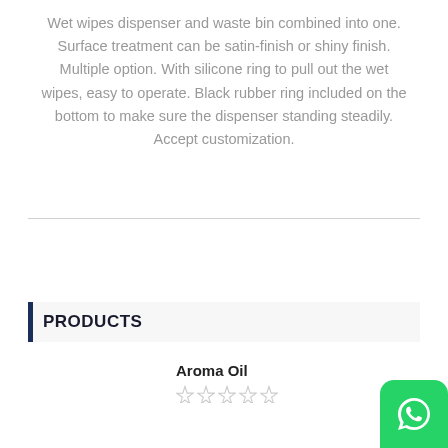Wet wipes dispenser and waste bin combined into one. Surface treatment can be satin-finish or shiny finish. Multiple option. With silicone ring to pull out the wet wipes, easy to operate. Black rubber ring included on the bottom to make sure the dispenser standing steadily. Accept customization.
PRODUCTS
Aroma Oil
[Figure (other): Five empty star rating icons]
[Figure (other): WhatsApp contact button icon in green]